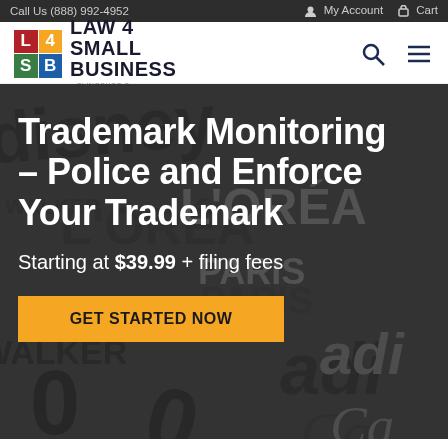Call Us (888) 992-4952 | My Account | Cart
[Figure (logo): Law 4 Small Business logo with colored grid squares (L, 4, S, B) and company name]
Trademark Monitoring – Police and Enforce Your Trademark
Starting at $39.99 + filing fees
GET STARTED NOW